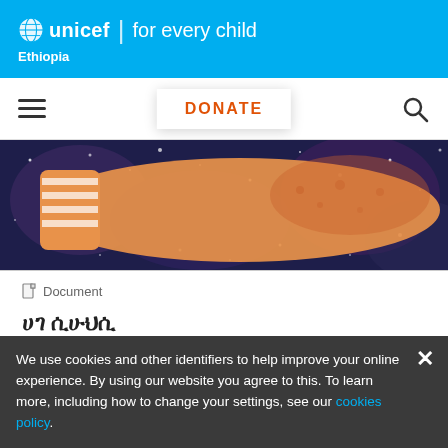unicef | for every child
Ethiopia
[Figure (screenshot): UNICEF website navigation bar with hamburger menu, DONATE button, and search icon]
[Figure (illustration): Colorful watercolor illustration showing orange and blue tones, appears to be a children's artwork with feet/shoes visible on a dark cosmic background with dots]
Document
ሀገ ሲሁህሲ
ሀ ሀሲሲሲሀ ሲሲሲሀ ሁሀ-19ሀ ሀሀሀሀ ሀሲሀሲሀ ሀሀሀሀሀሀሲሀ ሀሀሀሀሀ ሀሀሀ ሀሀሀሀሀ ሁሀሀ
We use cookies and other identifiers to help improve your online experience. By using our website you agree to this. To learn more, including how to change your settings, see our cookies policy.